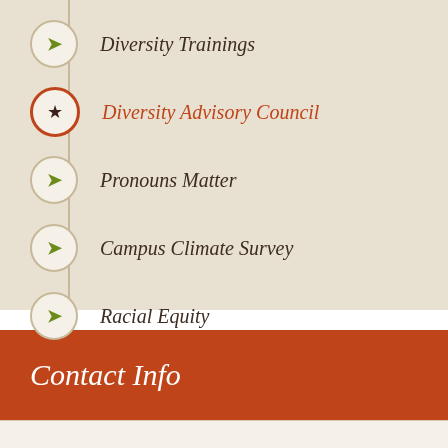Diversity Trainings
Diversity Advisory Council
Pronouns Matter
Campus Climate Survey
Racial Equity
Contact Info